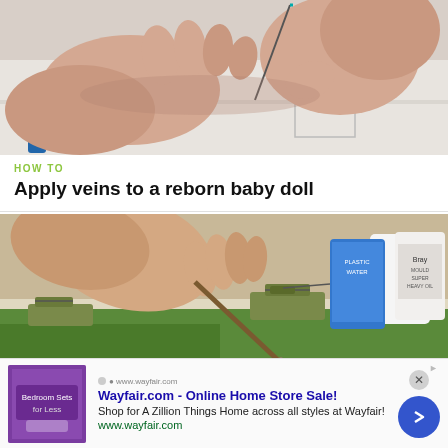[Figure (photo): Close-up of hands applying veins to a reborn baby doll using a needle tool]
HOW TO
Apply veins to a reborn baby doll
[Figure (photo): Hand holding a paint brush painting a miniature military tank scene with model tanks and greenery on a tabletop]
Wayfair.com - Online Home Store Sale! Shop for A Zillion Things Home across all styles at Wayfair! www.wayfair.com